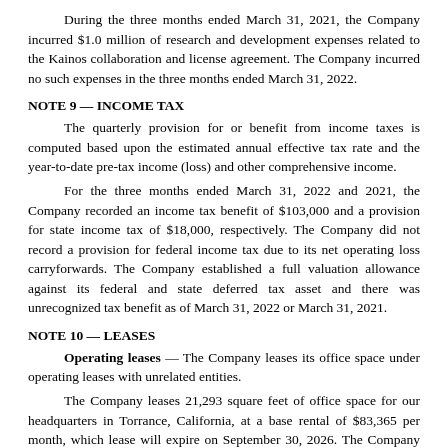During the three months ended March 31, 2021, the Company incurred $1.0 million of research and development expenses related to the Kainos collaboration and license agreement. The Company incurred no such expenses in the three months ended March 31, 2022.
NOTE 9 — INCOME TAX
The quarterly provision for or benefit from income taxes is computed based upon the estimated annual effective tax rate and the year-to-date pre-tax income (loss) and other comprehensive income.
For the three months ended March 31, 2022 and 2021, the Company recorded an income tax benefit of $103,000 and a provision for state income tax of $18,000, respectively. The Company did not record a provision for federal income tax due to its net operating loss carryforwards. The Company established a full valuation allowance against its federal and state deferred tax asset and there was unrecognized tax benefit as of March 31, 2022 or March 31, 2021.
NOTE 10 — LEASES
Operating leases — The Company leases its office space under operating leases with unrelated entities.
The Company leases 21,293 square feet of office space for our headquarters in Torrance, California, at a base rental of $83,365 per month, which lease will expire on September 30, 2026. The Company also leases an additional 1,850 square feet office space in New York, New York, at a base rent of $8,908, which lease will expire on January 31, 2023. In addition, the Company leases 1,322 square feet of office space in Tokyo, Japan, which lease